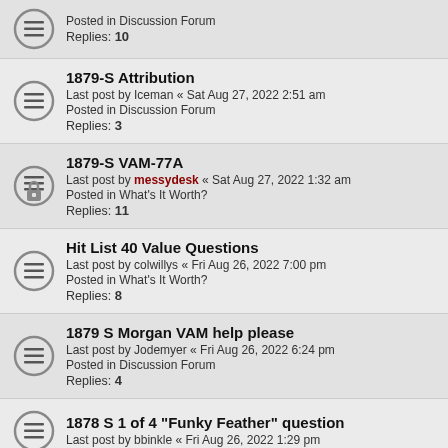Posted in Discussion Forum
Replies: 10
1879-S Attribution
Last post by Iceman « Sat Aug 27, 2022 2:51 am
Posted in Discussion Forum
Replies: 3
1879-S VAM-77A
Last post by messydesk « Sat Aug 27, 2022 1:32 am
Posted in What's It Worth?
Replies: 11
Hit List 40 Value Questions
Last post by colwillys « Fri Aug 26, 2022 7:00 pm
Posted in What's It Worth?
Replies: 8
1879 S Morgan VAM help please
Last post by Jodemyer « Fri Aug 26, 2022 6:24 pm
Posted in Discussion Forum
Replies: 4
1878 S 1 of 4 "Funky Feather" question
Last post by bbinkle « Fri Aug 26, 2022 1:29 pm